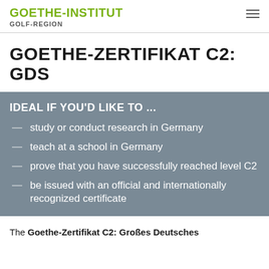GOETHE-INSTITUT GOLF-REGION
GOETHE-ZERTIFIKAT C2: GDS
IDEAL IF YOU'D LIKE TO ...
study or conduct research in Germany
teach at a school in Germany
prove that you have successfully reached level C2
be issued with an official and internationally recognized certificate
The Goethe-Zertifikat C2: Großes Deutsches